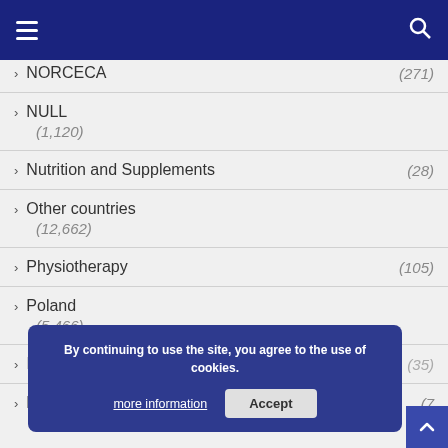Navigation header with hamburger menu and search icon
NORCECA (271)
NULL (1,120)
Nutrition and Supplements (28)
Other countries (12,662)
Physiotherapy (105)
Poland (5,466)
RSS direction (35)
Rumours (7...)
By continuing to use the site, you agree to the use of cookies. more information Accept